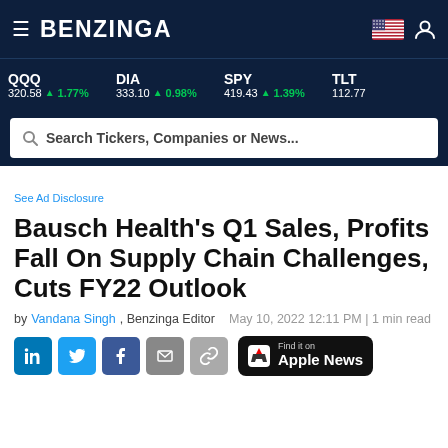BENZINGA
QQQ 320.58 ▲ 1.77% | DIA 333.10 ▲ 0.98% | SPY 419.43 ▲ 1.39% | TLT 112.77
Search Tickers, Companies or News...
See Ad Disclosure
Bausch Health's Q1 Sales, Profits Fall On Supply Chain Challenges, Cuts FY22 Outlook
by Vandana Singh, Benzinga Editor   May 10, 2022 12:11 PM | 1 min read
[Figure (other): Social sharing buttons: LinkedIn, Twitter, Facebook, Email, Link, and Apple News badge]